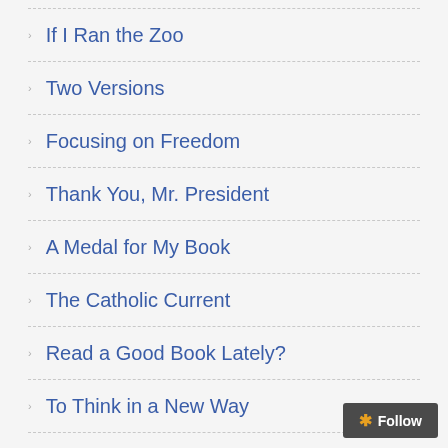If I Ran the Zoo
Two Versions
Focusing on Freedom
Thank You, Mr. President
A Medal for My Book
The Catholic Current
Read a Good Book Lately?
To Think in a New Way
Honoring St. Joseph